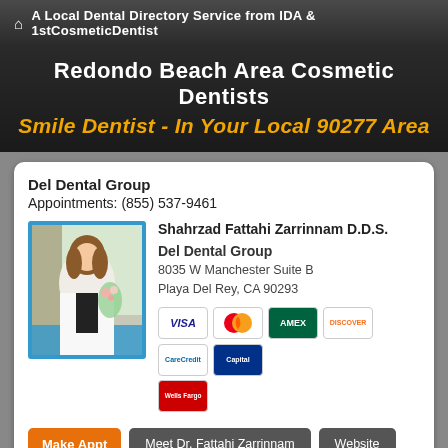A Local Dental Directory Service from IDA & 1stCosmeticDentist
Redondo Beach Area Cosmetic Dentists
Smile Dentist - In Your Local 90277 Area
Del Dental Group
Appointments: (855) 537-9461
[Figure (photo): Photo of Dr. Shahrzad Fattahi Zarrinnam, a woman in a white coat]
Shahrzad Fattahi Zarrinnam D.D.S.

Del Dental Group
8035 W Manchester Suite B
Playa Del Rey, CA 90293
[Figure (other): Payment method icons: VISA, MasterCard, American Express, Discover, CareCredit, Capital One, Wells Fargo]
Make Appt | Meet Dr. Fattahi Zarrinnam | Website
more info ...